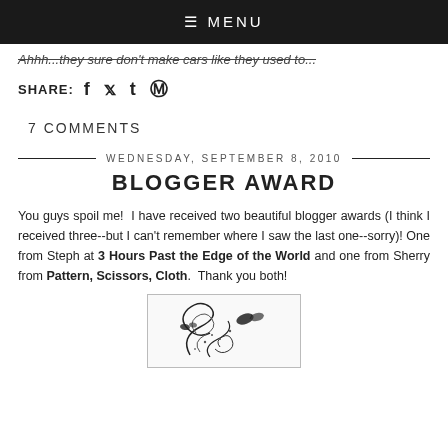≡ MENU
Ahhh...they sure don't make cars like they used to...
SHARE: f t @
7 COMMENTS
WEDNESDAY, SEPTEMBER 8, 2010
BLOGGER AWARD
You guys spoil me!  I have received two beautiful blogger awards (I think I received three--but I can't remember where I saw the last one--sorry)! One from Steph at 3 Hours Past the Edge of the World and one from Sherry from Pattern, Scissors, Cloth.  Thank you both!
[Figure (illustration): Decorative swirl and butterfly illustration inside a bordered box]